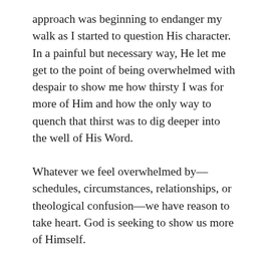approach was beginning to endanger my walk as I started to question His character. In a painful but necessary way, He let me get to the point of being overwhelmed with despair to show me how thirsty I was for more of Him and how the only way to quench that thirst was to dig deeper into the well of His Word.
Whatever we feel overwhelmed by—schedules, circumstances, relationships, or theological confusion—we have reason to take heart. God is seeking to show us more of Himself.